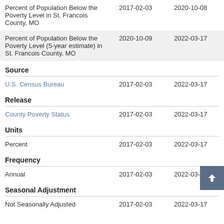| Series | Start | End |
| --- | --- | --- |
| Percent of Population Below the Poverty Level in St. Francois County, MO | 2017-02-03 | 2020-10-08 |
| Percent of Population Below the Poverty Level (5-year estimate) in St. Francois County, MO | 2020-10-09 | 2022-03-17 |
Source
| Source | Start | End |
| --- | --- | --- |
| U.S. Census Bureau | 2017-02-03 | 2022-03-17 |
Release
| Release | Start | End |
| --- | --- | --- |
| County Poverty Status | 2017-02-03 | 2022-03-17 |
Units
| Units | Start | End |
| --- | --- | --- |
| Percent | 2017-02-03 | 2022-03-17 |
Frequency
| Frequency | Start | End |
| --- | --- | --- |
| Annual | 2017-02-03 | 2022-03-17 |
Seasonal Adjustment
| Adjustment | Start | End |
| --- | --- | --- |
| Not Seasonally Adjusted | 2017-02-03 | 2022-03-17 |